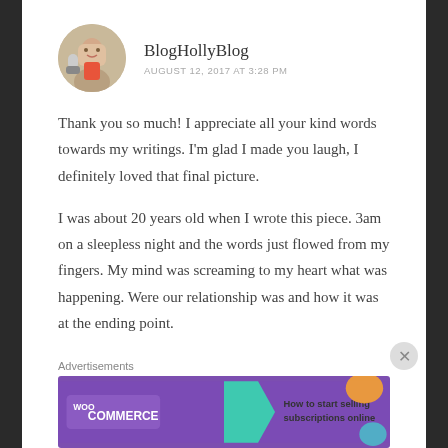[Figure (photo): Circular avatar photo of a woman (BlogHollyBlog author)]
BlogHollyBlog
AUGUST 12, 2017 AT 3:28 PM
Thank you so much! I appreciate all your kind words towards my writings. I'm glad I made you laugh, I definitely loved that final picture.
I was about 20 years old when I wrote this piece. 3am on a sleepless night and the words just flowed from my fingers. My mind was screaming to my heart what was happening. Were our relationship was and how it was at the ending point.
Advertisements
[Figure (screenshot): WooCommerce advertisement banner: 'How to start selling subscriptions online']